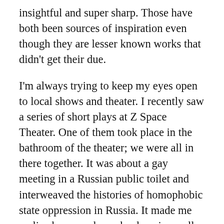insightful and super sharp. Those have both been sources of inspiration even though they are lesser known works that didn't get their due.
I'm always trying to keep my eyes open to local shows and theater. I recently saw a series of short plays at Z Space Theater. One of them took place in the bathroom of the theater; we were all in there together. It was about a gay meeting in a Russian public toilet and interweaved the histories of homophobic state oppression in Russia. It made me realize how much can be done in small confined spaces with few resources. I just happened to be there the one day it was performed. There's little exciting things happening all over the place.
Are there other things in having this conversation you feel like sharing?